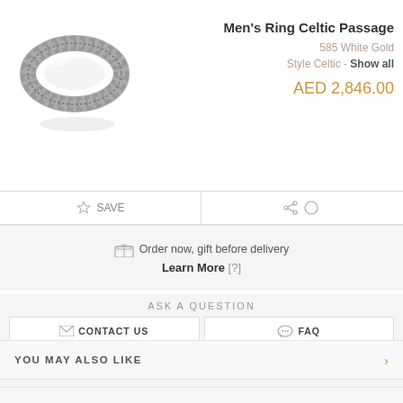[Figure (photo): Men's ring with Celtic pattern in white gold, shown at an angle]
Men's Ring Celtic Passage
585 White Gold
Style Celtic - Show all
AED 2,846.00
Order now, gift before delivery
Learn More [?]
ASK A QUESTION
CONTACT US
FAQ
0800 035704016 (Toll-Free)  |  Mon-Fri 09:00 - 19:00
YOU MAY ALSO LIKE
BEST SELLER DESIGNS